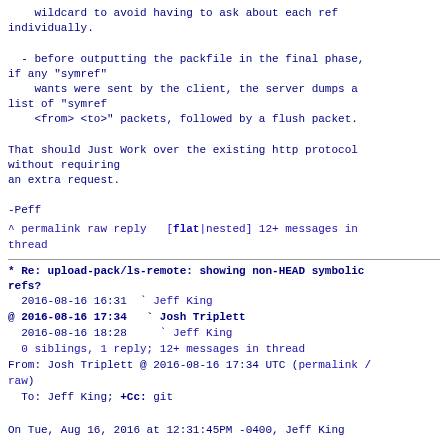wildcard to avoid having to ask about each ref
individually.

  - before outputting the packfile in the final phase,
if any "symref"
    wants were sent by the client, the server dumps a
list of "symref
    <from> <to>" packets, followed by a flush packet.
That should Just Work over the existing http protocol
without requiring
an extra request.

-Peff
^ permalink raw reply   [flat|nested] 12+ messages in
thread
* Re: upload-pack/ls-remote: showing non-HEAD symbolic
refs?
2016-08-16 16:31  ` Jeff King
@ 2016-08-16 17:34   ` Josh Triplett
  2016-08-16 18:28     ` Jeff King
  0 siblings, 1 reply; 12+ messages in thread
From: Josh Triplett @ 2016-08-16 17:34 UTC (permalink /
raw)
  To: Jeff King; +Cc: git
On Tue, Aug 16, 2016 at 12:31:45PM -0400, Jeff King